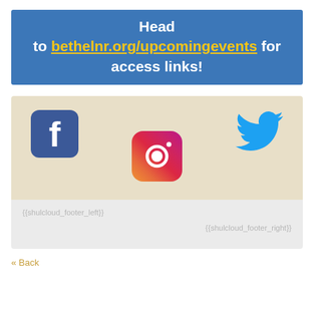Head to bethelnr.org/upcomingevents for access links!
[Figure (infographic): Social media icons: Facebook (blue square with white f), Twitter (blue bird), Instagram (gradient square icon) arranged in a beige/tan box]
{{shulcloud_footer_left}} {{shulcloud_footer_right}}
« Back